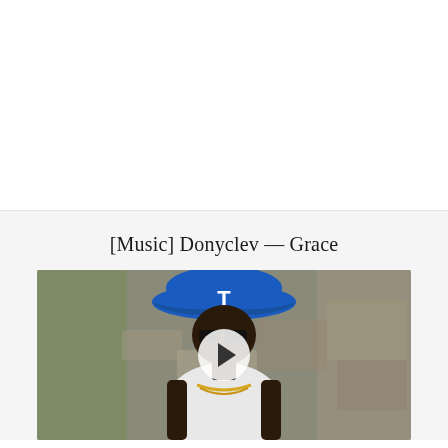[Figure (other): White blank advertisement or content area above a dividing line]
[Music] Donyclev — Grace
[Figure (photo): Photo of a person wearing a blue Texas Rangers baseball cap with letter T and a white tank top with gold chain jewelry, set against a rocky/stone background. A circular play button overlay is centered on the image.]